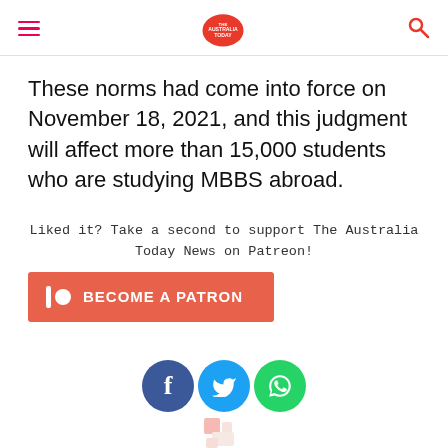The Australia Today — header with hamburger menu and search icon
These norms had come into force on November 18, 2021, and this judgment will affect more than 15,000 students who are studying MBBS abroad.
Liked it? Take a second to support The Australia Today News on Patreon!
[Figure (other): BECOME A PATRON button (Patreon) in red/orange]
[Figure (other): Social share buttons: Facebook (dark blue), Twitter (light blue), WhatsApp (green); partial logo watermark below]